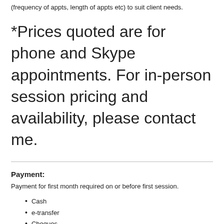(frequency of appts, length of appts etc) to suit client needs.
*Prices quoted are for phone and Skype appointments. For in-person session pricing and availability, please contact me.
Payment:
Payment for first month required on or before first session.
Cash
e-transfer
Cheques